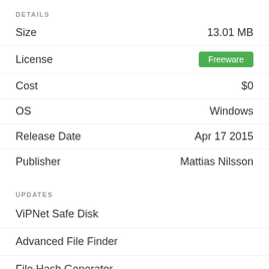DETAILS
| Field | Value |
| --- | --- |
| Size | 13.01 MB |
| License | Freeware |
| Cost | $0 |
| OS | Windows |
| Release Date | Apr 17 2015 |
| Publisher | Mattias Nilsson |
UPDATES
ViPNet Safe Disk
Advanced File Finder
File Hash Generator